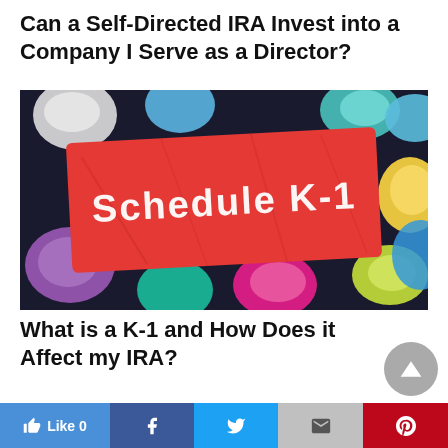Can a Self-Directed IRA Invest into a Company I Serve as a Director?
[Figure (photo): A red crumpled paper with 'Schedule K-1' written on it, surrounded by colorful crumpled paper balls on a dark background.]
What is a K-1 and How Does it Affect my IRA?